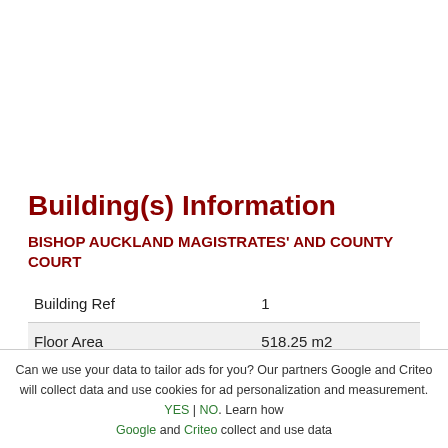Building(s) Information
BISHOP AUCKLAND MAGISTRATES' AND COUNTY COURT
|  |  |
| --- | --- |
| Building Ref | 1 |
| Floor Area | 518.25 m2 |
| Floor Type | Not Known |
Can we use your data to tailor ads for you? Our partners Google and Criteo will collect data and use cookies for ad personalization and measurement. YES | NO. Learn how Google and Criteo collect and use data